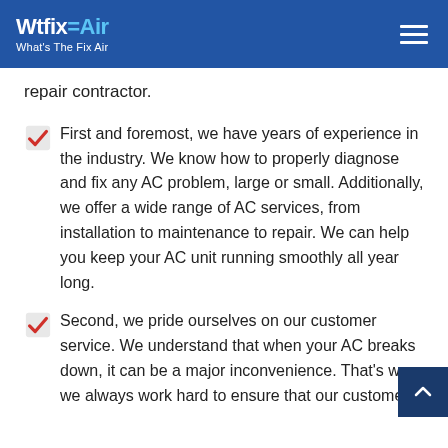Wtfix Air - What's The Fix Air
repair contractor.
First and foremost, we have years of experience in the industry. We know how to properly diagnose and fix any AC problem, large or small. Additionally, we offer a wide range of AC services, from installation to maintenance to repair. We can help you keep your AC unit running smoothly all year long.
Second, we pride ourselves on our customer service. We understand that when your AC breaks down, it can be a major inconvenience. That's why we always work hard to ensure that our customers